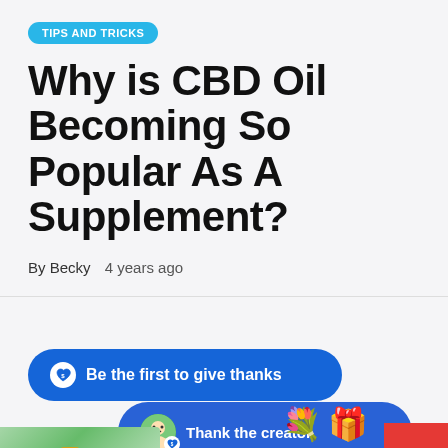TIPS AND TRICKS
Why is CBD Oil Becoming So Popular As A Supplement?
By Becky   4 years ago
[Figure (screenshot): Interactive UI section with a blue 'Be the first to give thanks' button, a 'Thank the creator' pill button with user avatar, emoji icons (bouquet and gift), a red scroll-to-top button with an up arrow, and a partial product photo at the bottom left.]